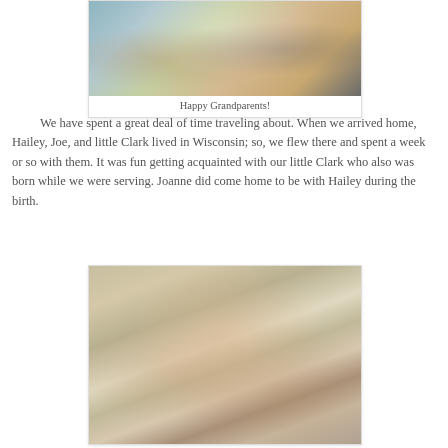[Figure (photo): Photo of grandparents holding a baby]
Happy Grandparents!
We have spent a great deal of time traveling about. When we arrived home, Hailey, Joe, and little Clark lived in Wisconsin; so, we flew there and spent a week or so with them. It was fun getting acquainted with our little Clark who also was born while we were serving. Joanne did come home to be with Hailey during the birth.
[Figure (photo): Woman with sunglasses playing with a baby on the beach]